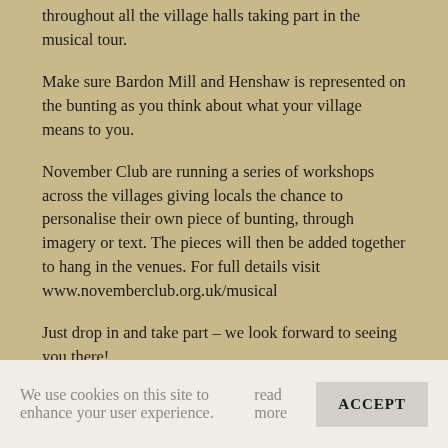throughout all the village halls taking part in the musical tour.
Make sure Bardon Mill and Henshaw is represented on the bunting as you think about what your village means to you.
November Club are running a series of workshops across the villages giving locals the chance to personalise their own piece of bunting, through imagery or text. The pieces will then be added together to hang in the venues. For full details visit www.novemberclub.org.uk/musical
Just drop in and take part – we look forward to seeing you there!
Supported using public funding by the National Lottery through Arts Council England and with support from The Joicey Trust, Esmee Fairbairn T...
We use cookies on this site to enhance your user experience. read more ACCEPT